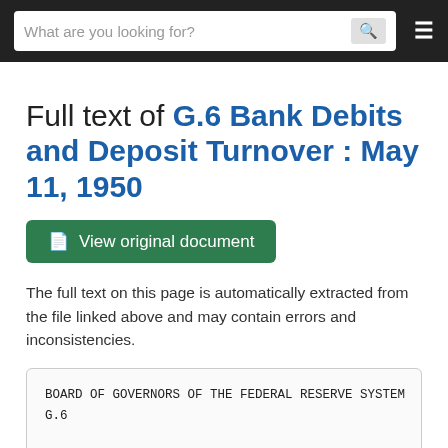What are you looking for?
Full text of G.6 Bank Debits and Deposit Turnover : May 11, 1950
View original document
The full text on this page is automatically extracted from the file linked above and may contain errors and inconsistencies.
BOARD OF GOVERNORS OF THE FEDERAL RESERVE SYSTEM
G.6

(For Immediate Release)